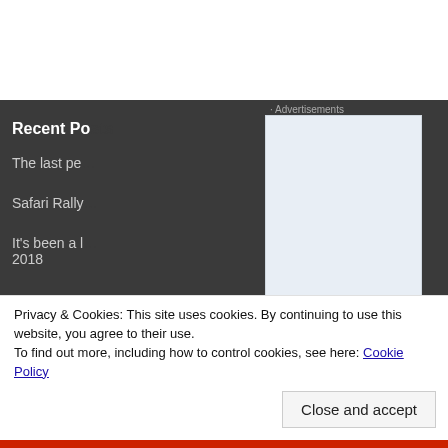Recent Po...
The last pe...
Safari Rally...
It's been a l... 2018
Advertisements
[Figure (other): Advertisement overlay box with light blue background and app icon (rounded square with circular logo) partially visible]
Privacy & Cookies: This site uses cookies. By continuing to use this website, you agree to their use.
To find out more, including how to control cookies, see here: Cookie Policy
Close and accept